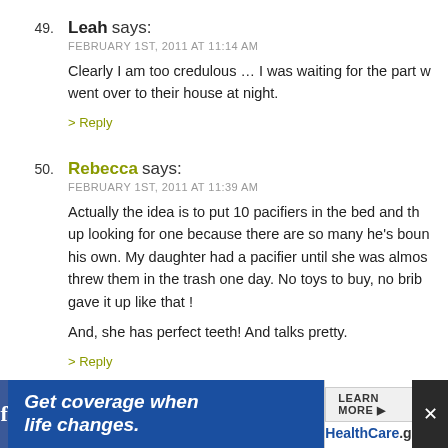49. Leah says: FEBRUARY 1ST, 2011 AT 11:14 AM — Clearly I am too credulous ... I was waiting for the part w went over to their house at night.
> Reply
50. Rebecca says: FEBRUARY 1ST, 2011 AT 11:39 AM — Actually the idea is to put 10 pacifiers in the bed and th up looking for one because there are so many he's boun his own. My daughter had a pacifier until she was almos threw them in the trash one day. No toys to buy, no brib gave it up like that ! And, she has perfect teeth! And talks pretty.
> Reply
51. Amanda M. says:
[Figure (infographic): Advertisement banner at bottom of page: blue background on left with italic white bold text 'Get coverage when life changes.' Right side white with 'LEARN MORE' button and 'HealthCare.gov' text. Social media and close icons on far right.]